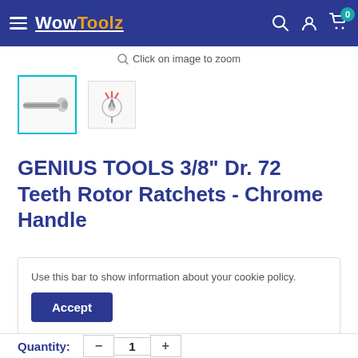WowToolz
Click on image to zoom
[Figure (photo): Selected thumbnail: ratchet tool image with cyan border]
[Figure (photo): Second thumbnail: ratchet mechanism diagram]
GENIUS TOOLS 3/8" Dr. 72 Teeth Rotor Ratchets - Chrome Handle
Use this bar to show information about your cookie policy.
Accept
Quantity:  —  1  +